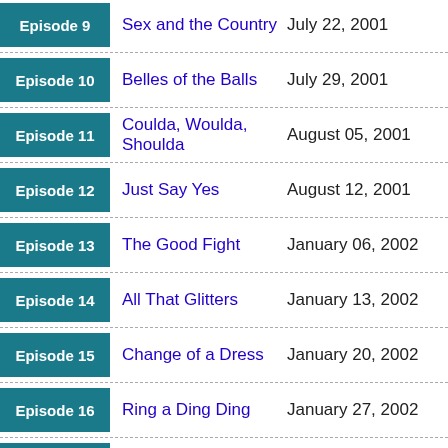Episode 9 | Sex and the Country | July 22, 2001
Episode 10 | Belles of the Balls | July 29, 2001
Episode 11 | Coulda, Woulda, Shoulda | August 05, 2001
Episode 12 | Just Say Yes | August 12, 2001
Episode 13 | The Good Fight | January 06, 2002
Episode 14 | All That Glitters | January 13, 2002
Episode 15 | Change of a Dress | January 20, 2002
Episode 16 | Ring a Ding Ding | January 27, 2002
Episode 17 | A 'Vogue' Idea | February 03,